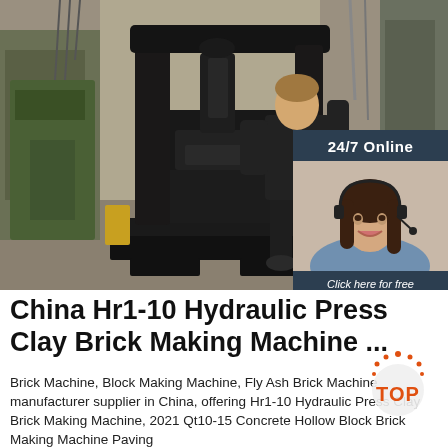[Figure (photo): Photo of a large black hydraulic press clay brick making machine in an industrial workshop, with a person standing behind it operating it. Chat widget overlay in top-right showing a female customer service representative with headset, text '24/7 Online', 'Click here for free chat!', and 'QUOTATION' button.]
China Hr1-10 Hydraulic Press Clay Brick Making Machine ...
Brick Machine, Block Making Machine, Fly Ash Brick Machine manufacturer supplier in China, offering Hr1-10 Hydraulic Press Clay Brick Making Machine, 2021 Qt10-15 Concrete Hollow Block Brick Making Machine Paving